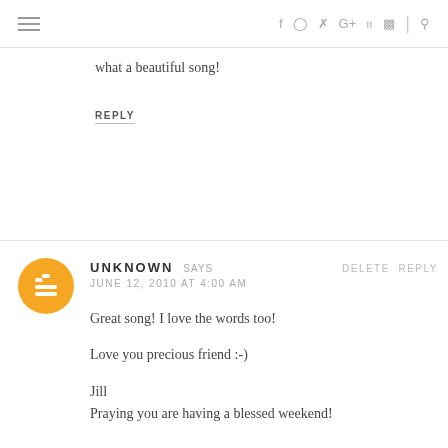≡ f ⊙ 𝕿 G+ 𝗣 ))) | 🔍
what a beautiful song!
REPLY
UNKNOWN SAYS
JUNE 12, 2010 AT 4:00 AM
Great song! I love the words too!

Love you precious friend :-)

Jill
Praying you are having a blessed weekend!